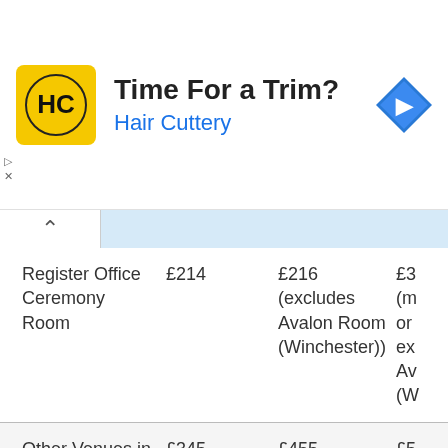[Figure (other): Hair Cuttery advertisement banner with logo, headline 'Time For a Trim?', subheadline 'Hair Cuttery', and a blue navigation arrow icon on the right.]
|  | Col1 | Col2 | Col3 |
| --- | --- | --- | --- |
| Register Office Ceremony Room | £214 | £216 (excludes Avalon Room (Winchester)) | £3... (m... or ex... Av... (W... |
| Other Venues in Hampshire | £345 | £455 | £5... |